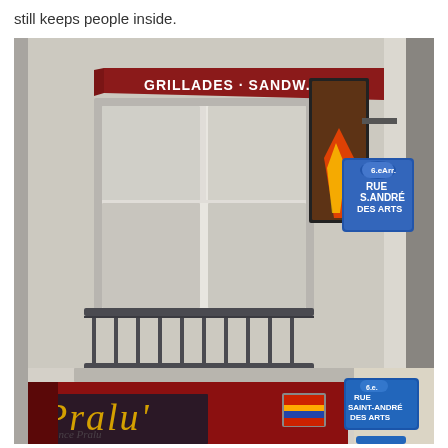still keeps people inside.
[Figure (photo): Street-level photograph of a Parisian building corner showing a restaurant called 'Pralu'' with a dark red facade and gold cursive lettering. Above the shopfront is a balcony window with wrought-iron railings and a red awning reading 'GRILLADES - SANDW. GRE'. On the corner wall are two blue French street signs reading 'RUE SAINT-ANDRÉ DES ARTS' in the 6th arrondissement (6e Arr), one older faded sign higher up and one modern blue enamel sign lower down. An artistic framed panel with a flame motif hangs on the wall.]